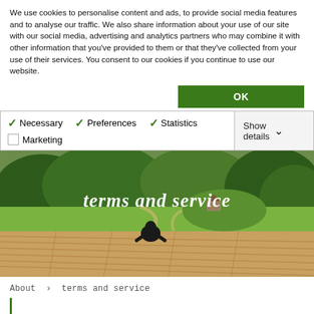We use cookies to personalise content and ads, to provide social media features and to analyse our traffic. We also share information about your use of our site with our social media, advertising and analytics partners who may combine it with other information that you've provided to them or that they've collected from your use of their services. You consent to our cookies if you continue to use our website.
OK
| ✓ Necessary | ✓ Preferences | ✓ Statistics | Show details ∨ |
| ☐ Marketing |  |  |  |
[Figure (photo): Hero banner image showing a person sitting on a wooden deck overlooking a green rural landscape with trees and a path. Text overlay reads 'terms and service' in bold white italic font.]
About › terms and service